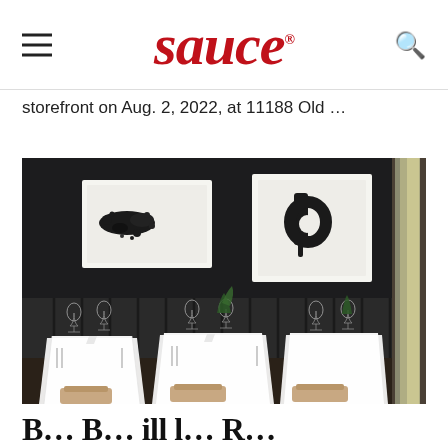sauce
storefront on Aug. 2, 2022, at 11188 Old …
[Figure (photo): Elegant restaurant interior with dark walls, black banquette seating, white tablecloths, wine glasses, and two framed black-and-white artworks hanging on the wall. Natural light comes from a window on the right.]
B…B… ill l… R…